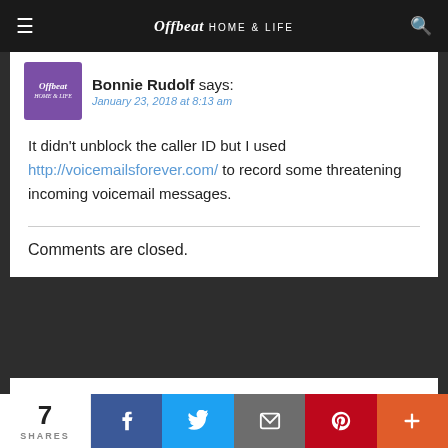Offbeat HOME & LIFE
Bonnie Rudolf says:
January 23, 2018 at 8:13 am
It didn't unblock the caller ID but I used http://voicemailsforever.com/ to record some threatening incoming voicemail messages.
Comments are closed.
SPONSORS
7 SHARES